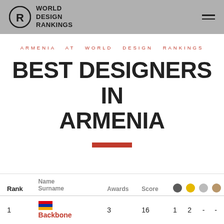World Design Rankings
ARMENIA AT WORLD DESIGN RANKINGS
BEST DESIGNERS IN ARMENIA
| Rank | Name Surname | Awards | Score | ● | ● | ● | ● |
| --- | --- | --- | --- | --- | --- | --- | --- |
| 1 | 🇦🇲 Backbone | 3 | 16 | 1 | 2 | - | - |